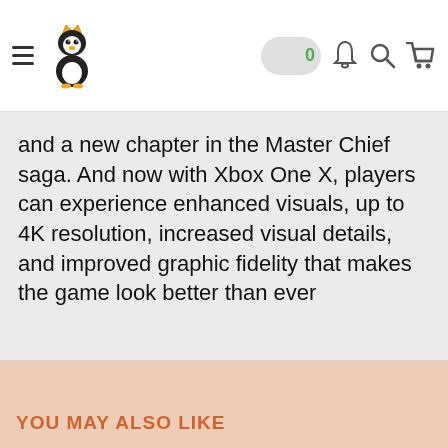Navigation header with hamburger menu, penguin logo, search pill, notification bell, search icon, and cart icon with badge 0
and a new chapter in the Master Chief saga. And now with Xbox One X, players can experience enhanced visuals, up to 4K resolution, increased visual details, and improved graphic fidelity that makes the game look better than ever
YOU MAY ALSO LIKE